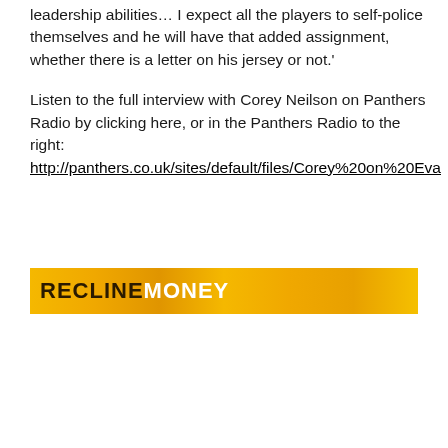leadership abilities… I expect all the players to self-police themselves and he will have that added assignment, whether there is a letter on his jersey or not.'
Listen to the full interview with Corey Neilson on Panthers Radio by clicking here, or in the Panthers Radio to the right:
http://panthers.co.uk/sites/default/files/Corey%20on%20Eva...
[Figure (other): Yellow/gold banner with bold white and dark text partially visible, appearing to be a decorative section header or advertisement banner for Panthers]